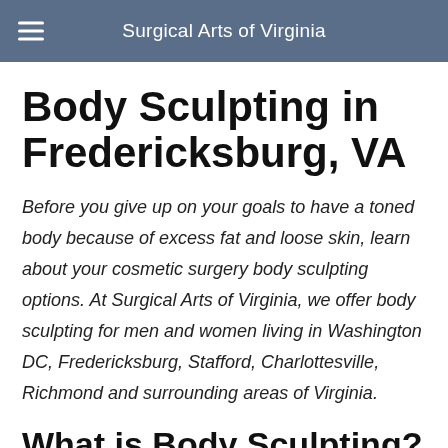Surgical Arts of Virginia
Body Sculpting in Fredericksburg, VA
Before you give up on your goals to have a toned body because of excess fat and loose skin, learn about your cosmetic surgery body sculpting options. At Surgical Arts of Virginia, we offer body sculpting for men and women living in Washington DC, Fredericksburg, Stafford, Charlottesville, Richmond and surrounding areas of Virginia.
What is Body Sculpting?